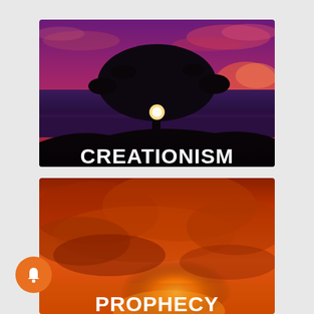[Figure (photo): Dramatic sunset sky with purple and red hues, silhouette of a large round tree with sunlight glowing behind trunk, dark hillside in foreground. White bold text 'CREATIONISM' overlaid at bottom center.]
[Figure (photo): Dramatic fiery orange and red cloudy sunset sky, bright light rays visible through clouds. White bold text 'PROPHECY' overlaid at bottom center. Partially visible (cropped at bottom).]